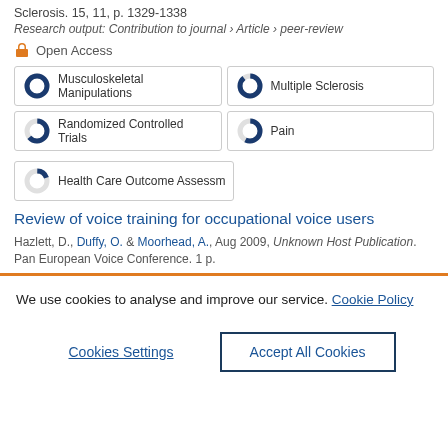Sclerosis. 15, 11, p. 1329-1338
Research output: Contribution to journal › Article › peer-review
Open Access
Musculoskeletal Manipulations
Multiple Sclerosis
Randomized Controlled Trials
Pain
Health Care Outcome Assessm
Review of voice training for occupational voice users
Hazlett, D., Duffy, O. & Moorhead, A., Aug 2009, Unknown Host Publication. Pan European Voice Conference. 1 p.
We use cookies to analyse and improve our service. Cookie Policy
Cookies Settings
Accept All Cookies